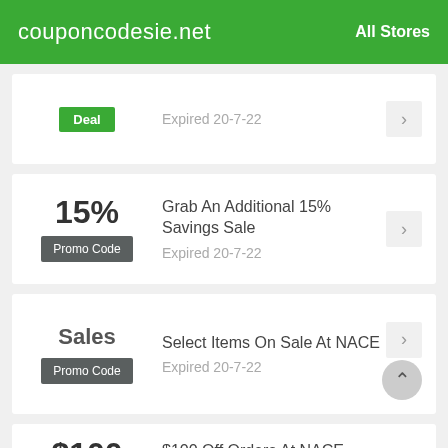couponcodesie.net   All Stores
Deal  Expired 20-7-22
15%  Promo Code  Grab An Additional 15% Savings Sale  Expired 20-7-22
Sales  Promo Code  Select Items On Sale At NACE  Expired 20-7-22
$100  $100 Off Orders At NACE